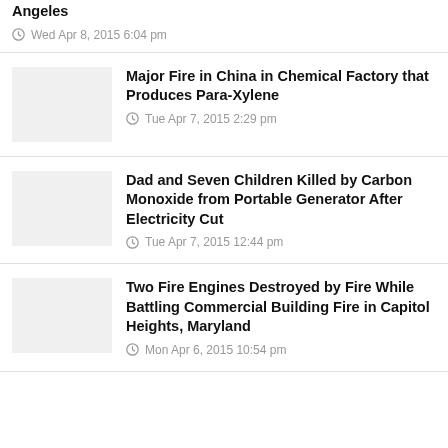Angeles
Wed Apr 8, 2015 6:04 pm
Major Fire in China in Chemical Factory that Produces Para-Xylene
Tue Apr 7, 2015 2:29 pm
Dad and Seven Children Killed by Carbon Monoxide from Portable Generator After Electricity Cut
Tue Apr 7, 2015 12:44 pm
Two Fire Engines Destroyed by Fire While Battling Commercial Building Fire in Capitol Heights, Maryland
Mon Apr 6, 2015 10:54 pm